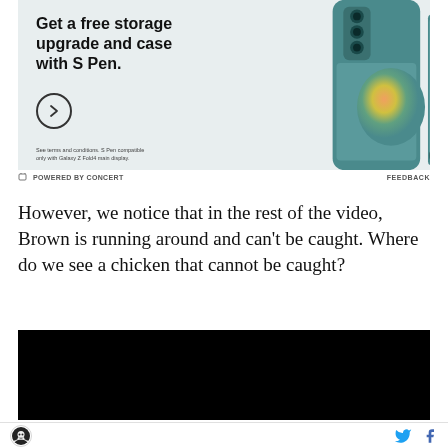[Figure (photo): Samsung advertisement banner showing a teal/green Samsung Galaxy Z Fold4 smartphone with S Pen and case. Text reads: Get a free storage upgrade and case with S Pen. Disclaimer: See terms and conditions. S Pen compatible only with Galaxy Z Fold4 main display.]
POWERED BY CONCERT   FEEDBACK
However, we notice that in the rest of the video, Brown is running around and can't be caught. Where do we see a chicken that cannot be caught?
[Figure (screenshot): Black video player embed]
[Figure (logo): Website logo (skull/crossbones style circular logo) on bottom left; Twitter and Facebook social icons on bottom right]